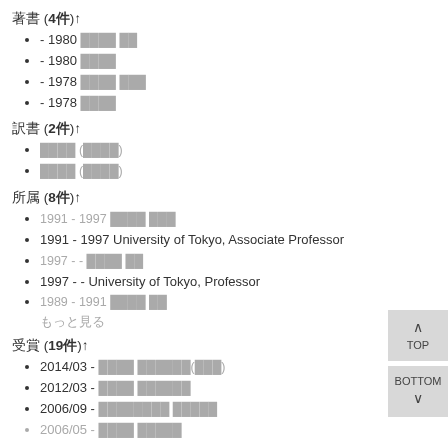著書 (4件)↑
- 1980 ████ ██
- 1980 ████
- 1978 ████ ███
- 1978 ████
訳書 (2件)↑
████ (████)
████ (████)
所属 (8件)↑
1991 - 1997 ████ ███
1991 - 1997 University of Tokyo, Associate Professor
1997 - - ████ ██
1997 - - University of Tokyo, Professor
1989 - 1991 ████ ██
もっと見る
受賞 (19件)↑
2014/03 - ████ ██████(███)
2012/03 - ████ ██████
2006/09 - ████████ █████
2006/05 - ████ █████